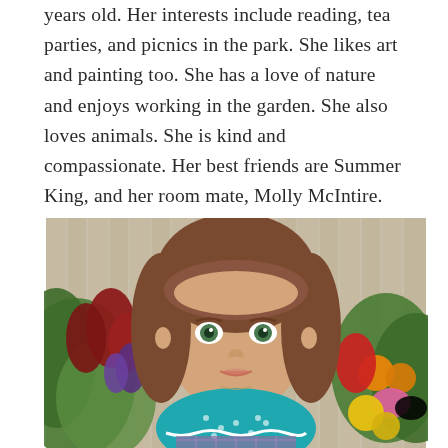years old. Her interests include reading, tea parties, and picnics in the park. She likes art and painting too. She has a love of nature and enjoys working in the garden. She also loves animals. She is kind and compassionate. Her best friends are Summer King, and her room mate, Molly McIntire.
[Figure (photo): Close-up photograph of an American Girl doll with brown hair and green eyes, wearing a teal polka-dot top with white lace trim over a plaid dress, photographed outdoors in front of a wooden fence with colorful garden flowers (purple, red, yellow, pink) in the background.]